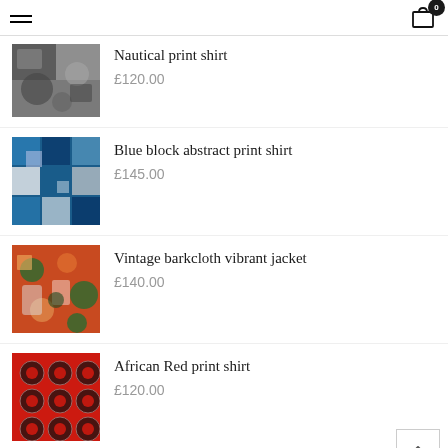Navigation header with hamburger menu and cart icon
[Figure (photo): Nautical print shirt product thumbnail - dark mottled print]
Nautical print shirt
£120.00
[Figure (photo): Blue block abstract print shirt product thumbnail - blue and white geometric pattern]
Blue block abstract print shirt
£145.00
[Figure (photo): Vintage barkcloth vibrant jacket product thumbnail - red, green, and cream floral pattern]
Vintage barkcloth vibrant jacket
£140.00
[Figure (photo): African Red print shirt product thumbnail - red with black circular geometric pattern]
African Red print shirt
£120.00
[Figure (photo): Fractal Jacquard Jacket product thumbnail - partial view, tan/brown tones]
[Fractal Jacquard] Jacket